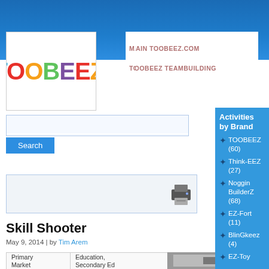MAIN TOOBEEZ.COM | TOOBEEZ TEAMBUILDING
[Figure (logo): Toobeez logo with colorful letters on white background]
Search
[Figure (screenshot): Gray box with printer icon]
Skill Shooter
May 9, 2014 | by Tim Arem
| Primary Market | Education, Secondary Ed |
| --- | --- |
Activities by Brand
TOOBEEZ (60)
Think-EEZ (27)
Noggin BuilderZ (68)
EZ-Fort (11)
BlinGkeez (4)
EZ-Toy